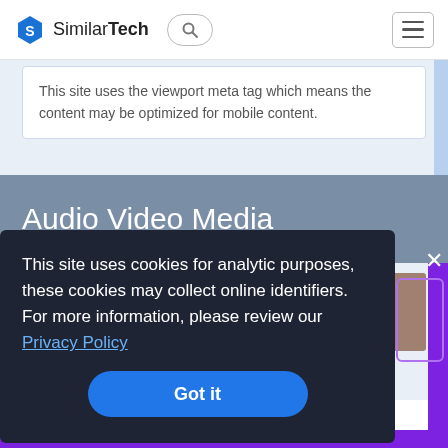SimilarTech
This site uses the viewport meta tag which means the content may be optimized for mobile content.
Audio Video Media
This site uses cookies for analytic purposes, these cookies may collect online identifiers. For more information, please review our Privacy Policy
Got it